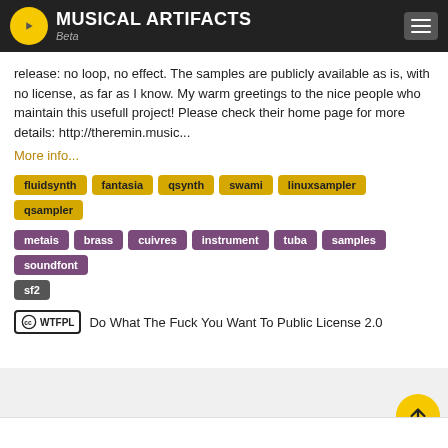MUSICAL ARTIFACTS Beta
release: no loop, no effect. The samples are publicly available as is, with no license, as far as I know. My warm greetings to the nice people who maintain this usefull project! Please check their home page for more details: http://theremin.music...
More info...
fluidsynth
fantasia
qsynth
swami
linuxsampler
qsampler
metais
brass
cuivres
instrument
tuba
samples
soundfont
sf2
Do What The Fuck You Want To Public License 2.0